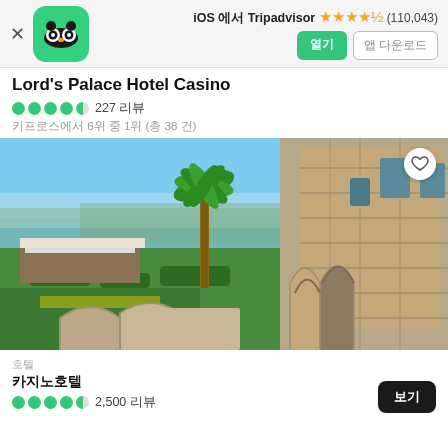iOS Tripadvisor (110,043)
Lord's Palace Hotel Casino
227 리뷰
키프로스에서 6위 중 1위 (총 38 건)
[Figure (photo): Aerial view of Lord's Palace Hotel Casino showing a historic stone castle with Gothic arches, palm trees, lush gardens with outdoor dining terraces, and a panoramic view of the Mediterranean sea and city in the background under a blue sky.]
호텔
카지노호텔
2,500 리뷰